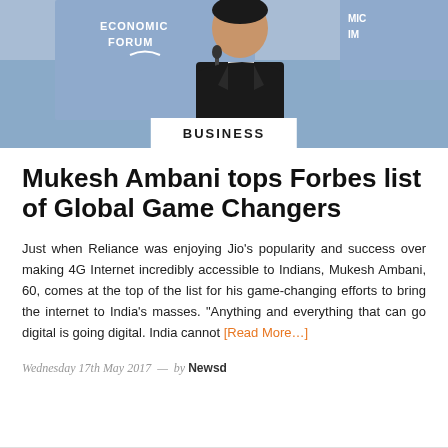[Figure (photo): Photo of Mukesh Ambani at a podium with World Economic Forum banners in the background]
BUSINESS
Mukesh Ambani tops Forbes list of Global Game Changers
Just when Reliance was enjoying Jio's popularity and success over making 4G Internet incredibly accessible to Indians, Mukesh Ambani, 60, comes at the top of the list for his game-changing efforts to bring the internet to India's masses. “Anything and everything that can go digital is going digital. India cannot [Read More…]
Wednesday 17th May 2017  —  by Newsd